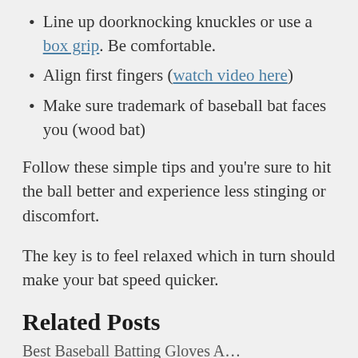Line up doorknocking knuckles or use a box grip. Be comfortable.
Align first fingers (watch video here)
Make sure trademark of baseball bat faces you (wood bat)
Follow these simple tips and you're sure to hit the ball better and experience less stinging or discomfort.
The key is to feel relaxed which in turn should make your bat speed quicker.
Related Posts
Best Baseball Batting Gloves A…